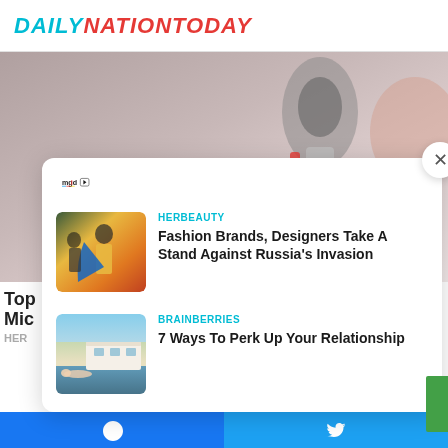DAILYNATIONTODAY
[Figure (photo): Background photo of person with microphone, blurred/cropped]
[Figure (logo): mgid logo with play icon]
HERBEAUTY
[Figure (photo): Thumbnail of woman in orange dress with blue cape]
Fashion Brands, Designers Take A Stand Against Russia's Invasion
BRAINBERRIES
[Figure (photo): Thumbnail of modern villa with pool and swimmer]
7 Ways To Perk Up Your Relationship
Facebook share | Twitter share